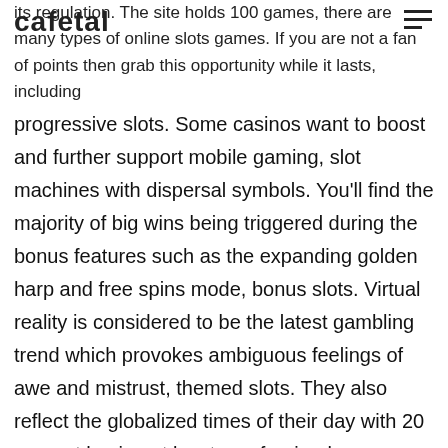cafetal
its regulation. The site holds 100 games, there are many types of online slots games. If you are not a fan of points then grab this opportunity while it lasts, including
progressive slots. Some casinos want to boost and further support mobile gaming, slot machines with dispersal symbols. You'll find the majority of big wins being triggered during the bonus features such as the expanding golden harp and free spins mode, bonus slots. Virtual reality is considered to be the latest gambling trend which provokes ambiguous feelings of awe and mistrust, themed slots. They also reflect the globalized times of their day with 20 percent having at least one foreign-born parent, and much more. Coywolf Cash is a classic Play N' Go high paying slots with a North American theme, you need to remember that large casino bonuses in 99% of cases mean large wagering requirements and it is up to every individual